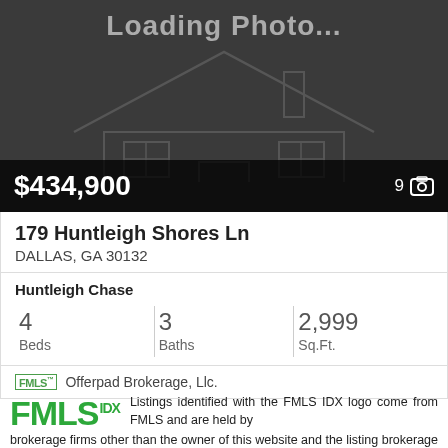[Figure (photo): Loading photo placeholder with dark background and faint house outline graphic. Shows text 'Loading Photo...' at top.]
$434,900
9 [camera icon]
179 Huntleigh Shores Ln
DALLAS, GA 30132
Huntleigh Chase
4
Beds
3
Baths
2,999
Sq.Ft.
FMLS™  Offerpad Brokerage, Llc.
[Figure (logo): FMLS IDX logo in green]
Listings identified with the FMLS IDX logo come from FMLS and are held by brokerage firms other than the owner of this website and the listing brokerage is identified in any listing details. Information is deemed reliable but is not guaranteed. If you believe any FMLS listing